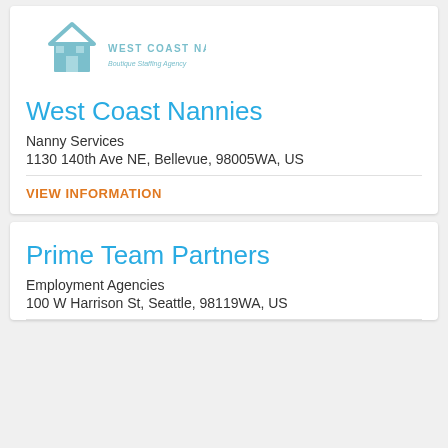[Figure (logo): West Coast Nannies logo: house icon above text 'WEST COAST NANNIES' and 'Boutique Staffing Agency']
West Coast Nannies
Nanny Services
1130 140th Ave NE, Bellevue, 98005WA, US
VIEW INFORMATION
Prime Team Partners
Employment Agencies
100 W Harrison St, Seattle, 98119WA, US